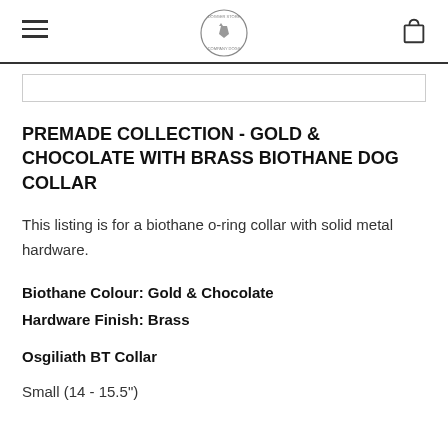Dogger Store — navigation header with hamburger menu, logo, and cart icon
PREMADE COLLECTION - GOLD & CHOCOLATE WITH BRASS BIOTHANE DOG COLLAR
This listing is for a biothane o-ring collar with solid metal hardware.
Biothane Colour: Gold & Chocolate
Hardware Finish: Brass
Osgiliath BT Collar
Small (14 - 15.5")